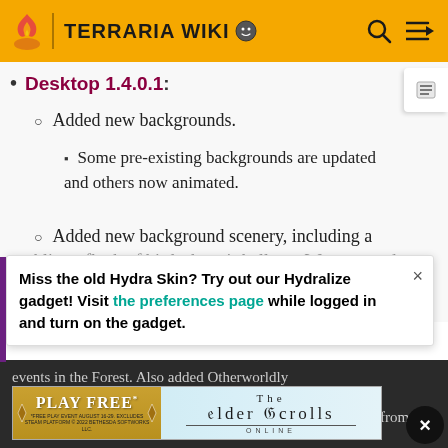TERRARIA WIKI
Desktop 1.4.0.1:
Added new backgrounds.
Some pre-existing backgrounds are updated and others now animated.
Added new background scenery, including a blimp, flock of birds, hot air balloon, Wyvern, and
Miss the old Hydra Skin? Try out our Hydralize gadget! Visit the preferences page while logged in and turn on the gadget.
events in the Forest. Also added Otherworldly from player once the player has entered the 05162020 seed and pressed the "Music" option in the Party Girl's menu.
[Figure (screenshot): Advertisement banner for The Elder Scrolls Online: Play Free event, showing 'PLAY FREE*' button and The Elder Scrolls Online logo on a blue background.]